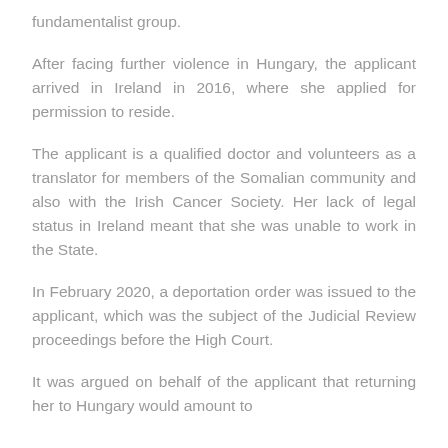fundamentalist group.
After facing further violence in Hungary, the applicant arrived in Ireland in 2016, where she applied for permission to reside.
The applicant is a qualified doctor and volunteers as a translator for members of the Somalian community and also with the Irish Cancer Society. Her lack of legal status in Ireland meant that she was unable to work in the State.
In February 2020, a deportation order was issued to the applicant, which was the subject of the Judicial Review proceedings before the High Court.
It was argued on behalf of the applicant that returning her to Hungary would amount to